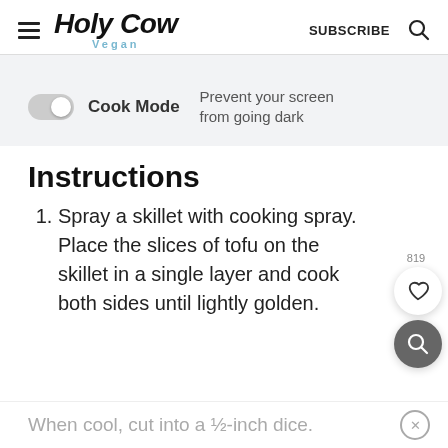Holy Cow Vegan — SUBSCRIBE
Cook Mode — Prevent your screen from going dark
Instructions
Spray a skillet with cooking spray. Place the slices of tofu on the skillet in a single layer and cook both sides until lightly golden.
When cool, cut into a ½-inch dice. Set aside.